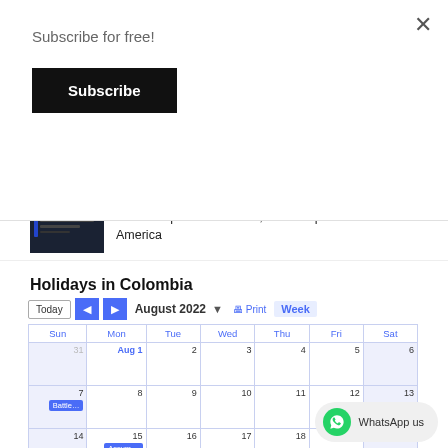Subscribe for free!
Subscribe
×
Colombia's Median Broadband Internet Speeds Mediocre, Mobile Speeds Poor For South America
Holidays in Colombia
[Figure (other): Google Calendar widget showing August 2022 with navigation controls (Today, back/forward arrows, month dropdown, Print, Week view). Weekly grid shows Sun–Sat columns with dates 31, Aug 1–6 in first row, 7–13 in second row (Battle of Boyacá event on Sun 7), 14–19 partial in third row (Assumption event on Mon 15).]
WhatsApp us